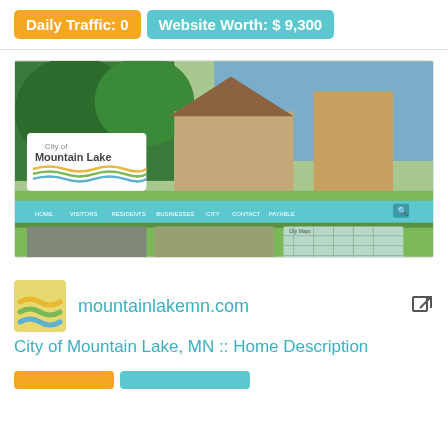Daily Traffic: 0  Website Worth: $ 9,300
[Figure (screenshot): Screenshot of mountainlakemn.com website showing City of Mountain Lake header with nature/house photo, navigation bar, and three thumbnail sections. Siteprice.org watermark visible.]
mountainlakemn.com
City of Mountain Lake, MN :: Home Description